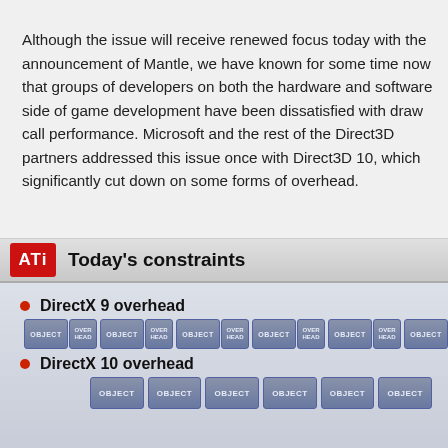Although the issue will receive renewed focus today with the announcement of Mantle, we have known for some time now that groups of developers on both the hardware and software side of game development have been dissatisfied with draw call performance. Microsoft and the rest of the Direct3D partners addressed this issue once with Direct3D 10, which significantly cut down on some forms of overhead.
[Figure (infographic): ATI slide titled 'Today's constraints' showing DirectX 9 overhead with 6 OBJECT+OVERHEAD box pairs and DirectX 10 overhead with 6 OBJECT boxes only (no overhead boxes)]